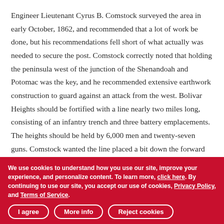Engineer Lieutenant Cyrus B. Comstock surveyed the area in early October, 1862, and recommended that a lot of work be done, but his recommendations fell short of what actually was needed to secure the post. Comstock correctly noted that holding the peninsula west of the junction of the Shenandoah and Potomac was the key, and he recommended extensive earthwork construction to guard against an attack from the west. Bolivar Heights should be fortified with a line nearly two miles long, consisting of an infantry trench and three battery emplacements. The heights should be held by 6,000 men and twenty-seven guns. Comstock wanted the line placed a bit down the forward slope of the height and continued all the way to the Shenandoah, where a redoubt
We use cookies to understand how you use our site, improve your experience, and personalize content. To learn more, click here. By continuing to use our site, you accept our use of cookies, Privacy Policy, and Terms of Service.